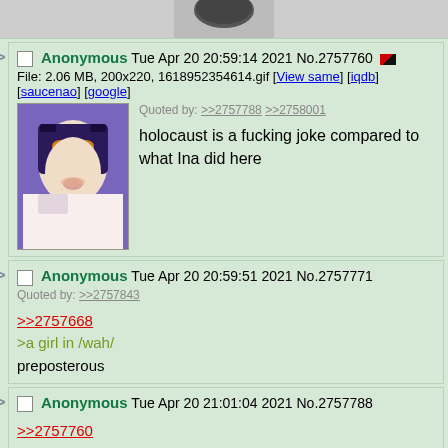[Figure (screenshot): Top partial image cut off, showing bottom of a dark shoe/object on gray background]
>> Anonymous Tue Apr 20 20:59:14 2021 No.2757760
File: 2.06 MB, 200x220, 1618952354614.gif [View same] [iqdb] [saucenao] [google]
Quoted by: >>2757788 >>2758001
holocaust is a fucking joke compared to what Ina did here
>> Anonymous Tue Apr 20 20:59:51 2021 No.2757771
Quoted by: >>2757843
>>2757668
>a girl in /wah/
preposterous
>> Anonymous Tue Apr 20 21:01:04 2021 No.2757788
>>2757760
i stand by everything she said